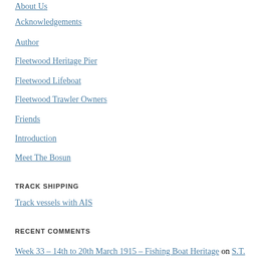About Us
Acknowledgements
Author
Fleetwood Heritage Pier
Fleetwood Lifeboat
Fleetwood Trawler Owners
Friends
Introduction
Meet The Bosun
TRACK SHIPPING
Track vessels with AIS
RECENT COMMENTS
Week 33 – 14th to 20th March 1915 – Fishing Boat Heritage on S.T.